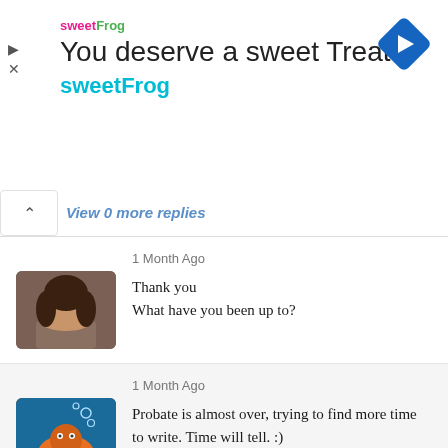[Figure (infographic): SweetFrog advertisement banner with logo, tagline 'You deserve a sweet Treat', brand name 'sweetFrog', navigation arrow icon, play and close buttons]
View 0 more replies
1 Month Ago
Thank you
What have you been up to?
1 Month Ago
Probate is almost over, trying to find more time to write. Time will tell. :)
1 Month Ago
Yes finding time to write is complicated.